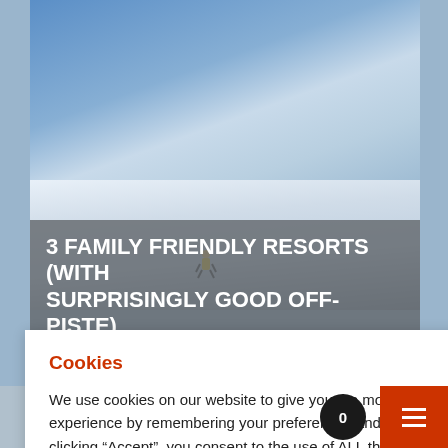[Figure (photo): Skier descending steep snowy slope with blue sky and mountains in background]
3 FAMILY FRIENDLY RESORTS (WITH SURPRISINGLY GOOD OFF-PISTE)
[Figure (photo): Snow-covered mountain resort village at dusk with purple and pink sky]
Cookies
We use cookies on our website to give you the most relevant experience by remembering your preferences and repeat visits. By clicking “Accept”, you consent to the use of ALL the cookies.
ACCEPT
Cookie settings
REJECT